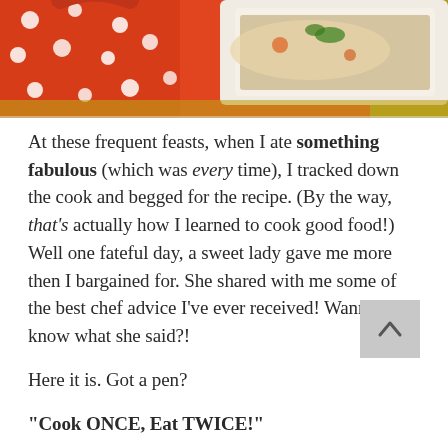[Figure (photo): Photo of red polka-dot dish/baking pan with food (casserole or similar dish with garnish), placed on colorful woven mat. Predominantly red and orange tones.]
At these frequent feasts, when I ate something fabulous (which was every time), I tracked down the cook and begged for the recipe. (By the way, that's actually how I learned to cook good food!) Well one fateful day, a sweet lady gave me more then I bargained for. She shared with me some of the best chef advice I've ever received! Wanna know what she said?!
Here it is. Got a pen?
“Cook ONCE, Eat TWICE!”